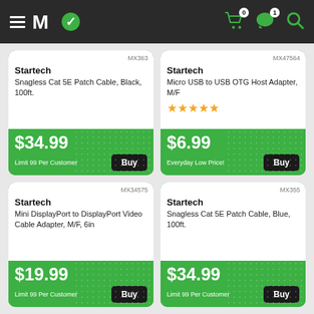Micro Center website header with logo and icons (cart: 0, messages: 1, search)
MX363 | Startech | Snagless Cat 5E Patch Cable, Black, 100ft. | $34.99 | Limit 99 Per Customer
MX47564 | Startech | Micro USB to USB OTG Host Adapter, M/F | ★★★★★ | $6.99 | Everyday Low Price!
MX34575 | Startech | Mini DisplayPort to DisplayPort Video Cable Adapter, M/F, 6in | $19.99 | Limit 99 Per Customer
MX355 | Startech | Snagless Cat 5E Patch Cable, Blue, 100ft. | $34.99 | Limit 99 Per Customer